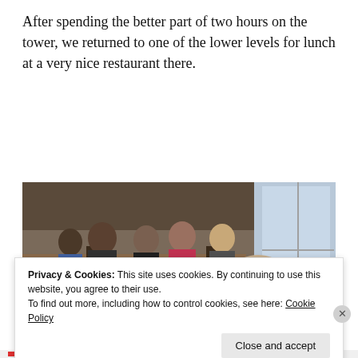After spending the better part of two hours on the tower, we returned to one of the lower levels for lunch at a very nice restaurant there.
[Figure (photo): Indoor restaurant scene with multiple people seated in booths. Two men in the foreground — one in a green/yellow jacket, one in a plaid shirt — with a crowded dining room visible behind them and large windows on the right.]
Privacy & Cookies: This site uses cookies. By continuing to use this website, you agree to their use.
To find out more, including how to control cookies, see here: Cookie Policy